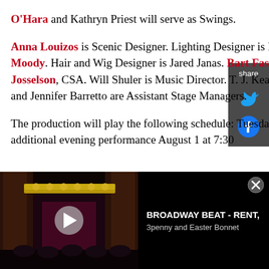O'Hara and Kathryn Priest will serve as Swings.
Anna Louizos is Scenic Designer. Lighting Designer is Kirk Baran-Bookman. Costume designer is Nicole Moody. Hair and Wig Designer is Jared Janas. Bart Fasbender is Sound Designer. Casting is by Geoff Josselson, CSA. Will Shuler is Music Director. T. J. Kearney is Production Stage Manager. Ben Freedman and Jennifer Barretto are Assistant Stage Managers.
The production will play the following schedule: Tuesdays at 7:30 p.m., Wednesdays at 2:00 pm (plus an additional evening performance August 1 at 7:30
[Figure (screenshot): Video bar at bottom showing a Broadway theater stage thumbnail with play button, title BROADWAY BEAT - RENT, 3penny and Easter Bonnet, and a close button.]